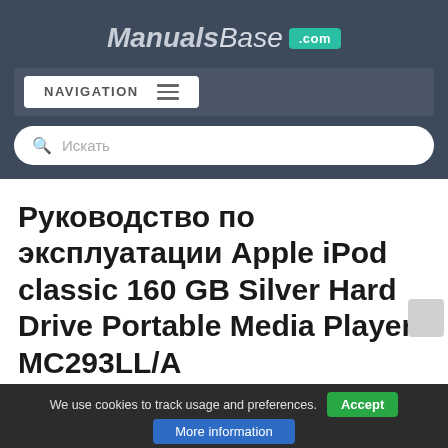ManualsBase .com
NAVIGATION
Искать
Руководство по эксплуатации Apple iPod classic 160 GB Silver Hard Drive Portable Media Player MC293LL/A
We use cookies to track usage and preferences. Accept  More information